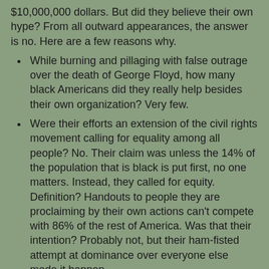$10,000,000 dollars. But did they believe their own hype? From all outward appearances, the answer is no. Here are a few reasons why.
While burning and pillaging with false outrage over the death of George Floyd, how many black Americans did they really help besides their own organization? Very few.
Were their efforts an extension of the civil rights movement calling for equality among all people? No. Their claim was unless the 14% of the population that is black is put first, no one matters. Instead, they called for equity. Definition? Handouts to people they are proclaiming by their own actions can't compete with 86% of the rest of America. Was that their intention? Probably not, but their ham-fisted attempt at dominance over everyone else made it happen.
Critical race theory. This is nothing more than wrongfully proclaiming black people have been